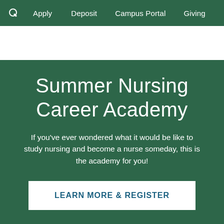Apply   Deposit   Campus Portal   Giving
[Figure (logo): White logo bar area for institution branding]
Summer Nursing Career Academy
If you've ever wondered what it would be like to study nursing and become a nurse someday, this is the academy for you!
LEARN MORE & REGISTER